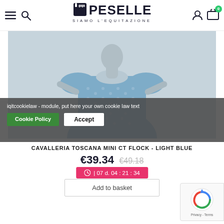[Figure (logo): PicSelle equestrian shop logo with horse icon and tagline SIAMO L'EQUITAZIONE]
[Figure (photo): Light blue t-shirt with mini CT flock pattern displayed on a mannequin against a light grey background]
iqitcookielaw - module, put here your own cookie law text
Cookie Policy  Accept
CAVALLERIA TOSCANA MINI CT FLOCK - LIGHT BLUE
€39.34  €49.18
07 d. 04 : 21 : 34
Add to basket